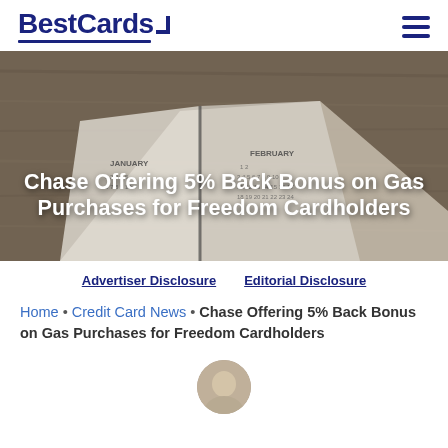BestCards
[Figure (photo): Hero image showing an open calendar/planner on a wooden desk surface, with January and February visible. Overlaid bold white text reads: Chase Offering 5% Back Bonus on Gas Purchases for Freedom Cardholders]
Chase Offering 5% Back Bonus on Gas Purchases for Freedom Cardholders
Advertiser Disclosure   Editorial Disclosure
Home • Credit Card News • Chase Offering 5% Back Bonus on Gas Purchases for Freedom Cardholders
[Figure (photo): Circular author avatar photo, partially visible at bottom of page]